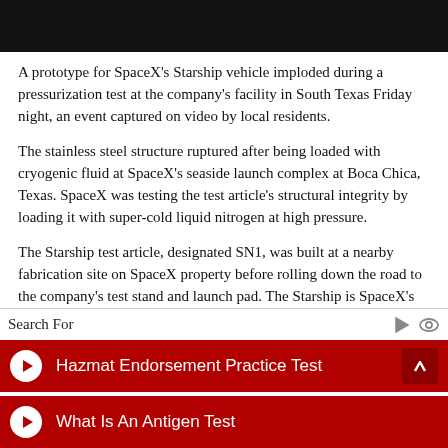[Figure (photo): Black video banner/thumbnail at top of page]
A prototype for SpaceX's Starship vehicle imploded during a pressurization test at the company's facility in South Texas Friday night, an event captured on video by local residents.
The stainless steel structure ruptured after being loaded with cryogenic fluid at SpaceX's seaside launch complex at Boca Chica, Texas. SpaceX was testing the test article's structural integrity by loading it with super-cold liquid nitrogen at high pressure.
The Starship test article, designated SN1, was built at a nearby fabrication site on SpaceX property before rolling down the road to the company's test stand and launch pad. The Starship is SpaceX's next major rocket program, and is designed to be
Search For
Hazmat Endorsement Practice Test
What Is An Antigen Test